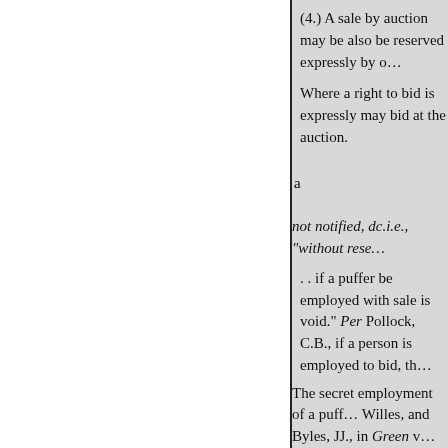(4.) A sale by auction may be also be reserved expressly by o...
Where a right to bid is expressly may bid at the auction.
a
not notified, dc.i.e., "without rese...
. . if a puffer be employed with sale is void." Per Pollock, C.B., if a person is employed to bid, th...
The secret employment of a puff... Willes, and Byles, JJ., in Green v...
A sale upon the terms that the law (i.e., it is "not notified to be Cran
'3 worth. No authorities were c the vendor may bid" pursuant to no cne else may bid for him as w...
In 1867, two years after this, t...